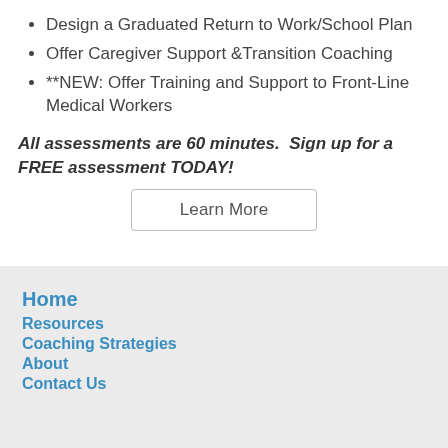Design a Graduated Return to Work/School Plan
Offer Caregiver Support &Transition Coaching
**NEW: Offer Training and Support to Front-Line Medical Workers
All assessments are 60 minutes.  Sign up for a FREE assessment TODAY!
Learn More
Home
Resources
Coaching Strategies
About
Contact Us